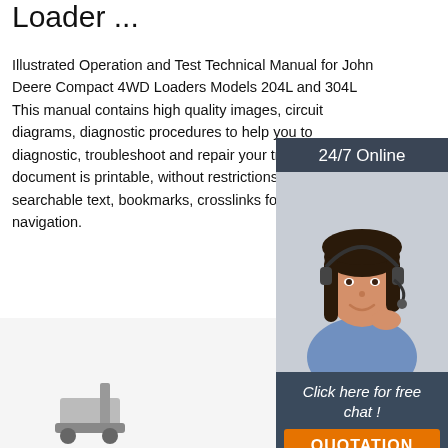Loader ...
Illustrated Operation and Test Technical Manual for John Deere Compact 4WD Loaders Models 204L and 304L This manual contains high quality images, circuit diagrams, diagnostic procedures to help you to diagnostic, troubleshoot and repair your truck. document is printable, without restrictions, con searchable text, bookmarks, crosslinks for eas navigation.
Get Price
[Figure (photo): Customer service representative woman with headset, with '24/7 Online' header, 'Click here for free chat!' text, and 'QUOTATION' orange button on dark background sidebar widget]
[Figure (photo): Bottom portion showing machinery/loader equipment images on light background]